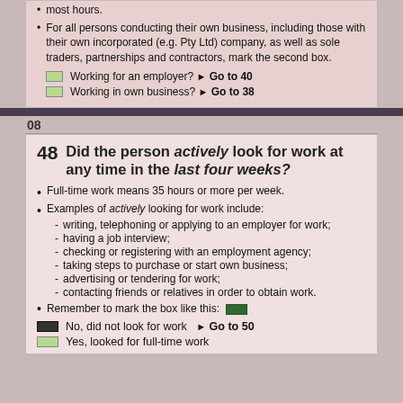most hours.
For all persons conducting their own business, including those with their own incorporated (e.g. Pty Ltd) company, as well as sole traders, partnerships and contractors, mark the second box.
Working for an employer? ▶ Go to 40
Working in own business? ▶ Go to 38
08
48  Did the person actively look for work at any time in the last four weeks?
Full-time work means 35 hours or more per week.
Examples of actively looking for work include:
writing, telephoning or applying to an employer for work;
having a job interview;
checking or registering with an employment agency;
taking steps to purchase or start own business;
advertising or tendering for work;
contacting friends or relatives in order to obtain work.
Remember to mark the box like this:
No, did not look for work ▶ Go to 50
Yes, looked for full-time work